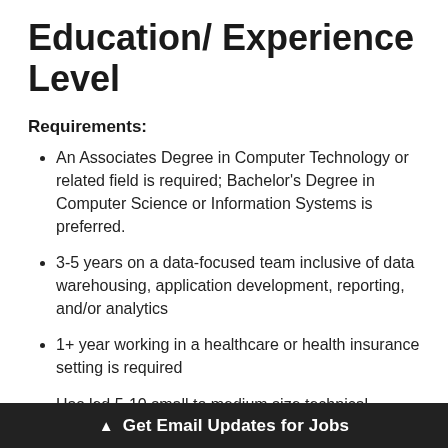Education/ Experience Level
Requirements:
An Associates Degree in Computer Technology or related field is required; Bachelor's Degree in Computer Science or Information Systems is preferred.
3-5 years on a data-focused team inclusive of data warehousing, application development, reporting, and/or analytics
1+ year working in a healthcare or health insurance setting is required
Has led 5-10 small to medium size technical initiati…
▲ Get Email Updates for Jobs